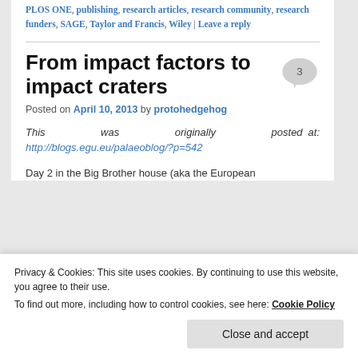PLOS ONE, publishing, research articles, research community, research funders, SAGE, Taylor and Francis, Wiley | Leave a reply
From impact factors to impact craters
Posted on April 10, 2013 by protohedgehog
This was originally posted at: http://blogs.egu.eu/palaeoblog/?p=542
Day 2 in the Big Brother house (aka the European
Privacy & Cookies: This site uses cookies. By continuing to use this website, you agree to their use.
To find out more, including how to control cookies, see here: Cookie Policy